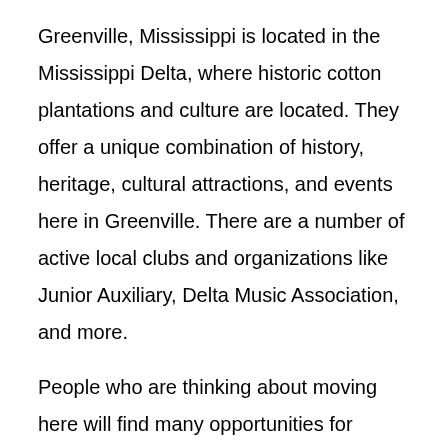Greenville, Mississippi is located in the Mississippi Delta, where historic cotton plantations and culture are located. They offer a unique combination of history, heritage, cultural attractions, and events here in Greenville. There are a number of active local clubs and organizations like Junior Auxiliary, Delta Music Association, and more.
People who are thinking about moving here will find many opportunities for residents. That's why it's so important to enjoy their new home windows as much as their old ones. Especially when it comes to aesthetics, windows are one of the first things people see. New windows can